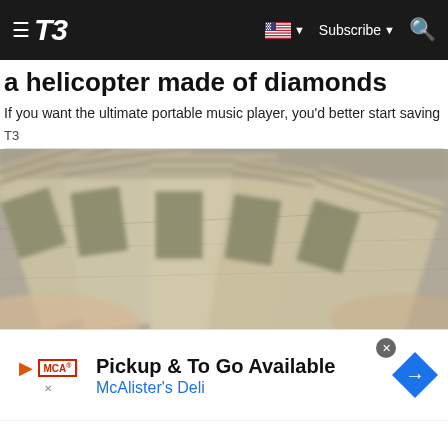T3 — Subscribe
a helicopter made of diamonds
If you want the ultimate portable music player, you'd better start saving
T3
[Figure (photo): Fanned-out US dollar banknotes, blurred/close-up view]
Pickup & To Go Available
McAlister's Deli